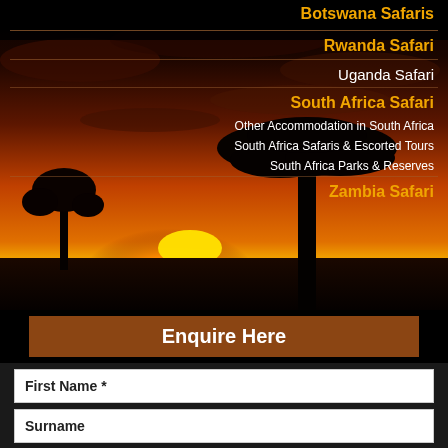[Figure (photo): African safari sunset background with silhouetted acacia trees against an orange and golden sky]
Botswana Safaris
Rwanda Safari
Uganda Safari
South Africa Safari
Other Accommodation in South Africa
South Africa Safaris & Escorted Tours
South Africa Parks & Reserves
Zambia Safari
Enquire Here
First Name *
Surname
Email *
Confirm Email *
Tel